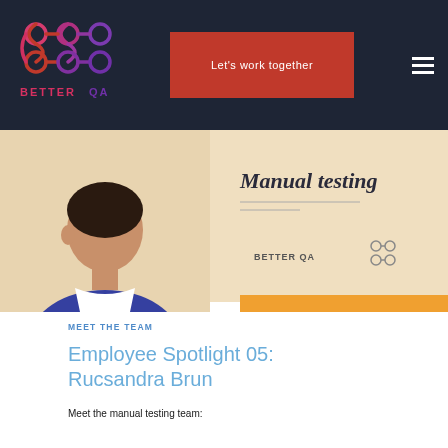[Figure (logo): Better QA logo with abstract interconnected loop shapes in red/pink and purple gradient above the text BETTER QA]
Let's work together
[Figure (illustration): Illustration showing a person in a blue shirt with Manual testing text and Better QA branding on a light peach background with orange bar at bottom]
MEET THE TEAM
Employee Spotlight 05: Rucsandra Brun
Meet the manual testing team: